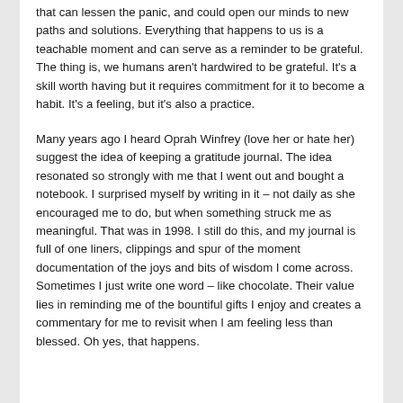that can lessen the panic, and could open our minds to new paths and solutions. Everything that happens to us is a teachable moment and can serve as a reminder to be grateful. The thing is, we humans aren't hardwired to be grateful. It's a skill worth having but it requires commitment for it to become a habit. It's a feeling, but it's also a practice.
Many years ago I heard Oprah Winfrey (love her or hate her) suggest the idea of keeping a gratitude journal. The idea resonated so strongly with me that I went out and bought a notebook. I surprised myself by writing in it – not daily as she encouraged me to do, but when something struck me as meaningful. That was in 1998. I still do this, and my journal is full of one liners, clippings and spur of the moment documentation of the joys and bits of wisdom I come across. Sometimes I just write one word – like chocolate. Their value lies in reminding me of the bountiful gifts I enjoy and creates a commentary for me to revisit when I am feeling less than blessed. Oh yes, that happens.